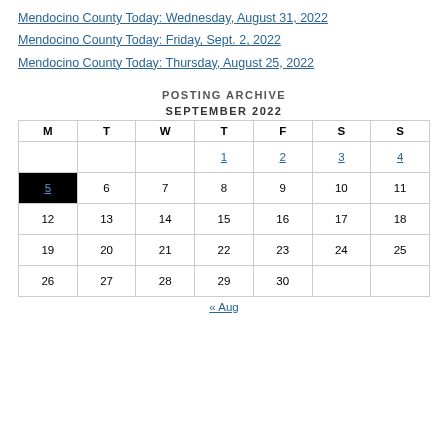Mendocino County Today: Wednesday, August 31, 2022
Mendocino County Today: Friday, Sept. 2, 2022
Mendocino County Today: Thursday, August 25, 2022
POSTING ARCHIVE
SEPTEMBER 2022
| M | T | W | T | F | S | S |
| --- | --- | --- | --- | --- | --- | --- |
|  |  |  | 1 | 2 | 3 | 4 |
| 5 | 6 | 7 | 8 | 9 | 10 | 11 |
| 12 | 13 | 14 | 15 | 16 | 17 | 18 |
| 19 | 20 | 21 | 22 | 23 | 24 | 25 |
| 26 | 27 | 28 | 29 | 30 |  |  |
« Aug